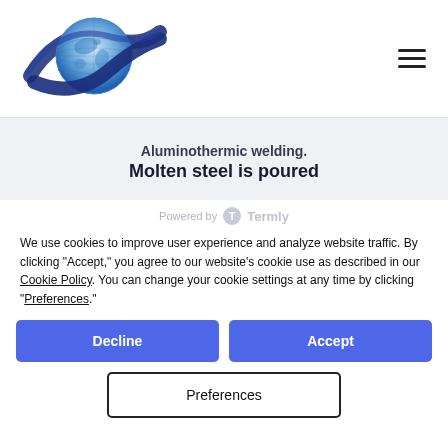[Figure (logo): Company logo: globe with blue orbital ring and stylized S shape]
Aluminothermic welding. Molten steel is poured
Powered by Termly
We use cookies to improve user experience and analyze website traffic. By clicking “Accept,” you agree to our website’s cookie use as described in our Cookie Policy. You can change your cookie settings at any time by clicking “Preferences.”